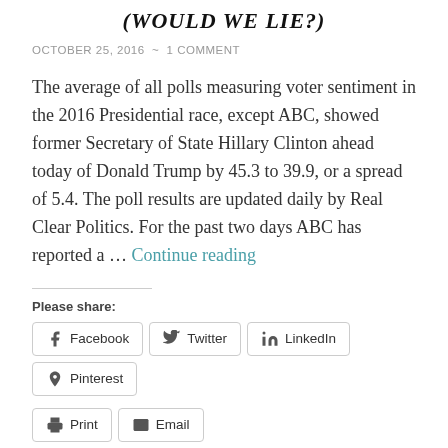(WOULD WE LIE?)
OCTOBER 25, 2016 ~ 1 COMMENT
The average of all polls measuring voter sentiment in the 2016 Presidential race, except ABC, showed former Secretary of State Hillary Clinton ahead today of Donald Trump by 45.3 to 39.9, or a spread of 5.4. The poll results are updated daily by Real Clear Politics. For the past two days ABC has reported a … Continue reading
Please share:
Facebook
Twitter
LinkedIn
Pinterest
Print
Email